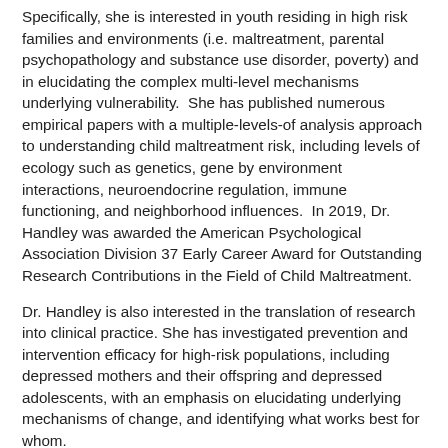Specifically, she is interested in youth residing in high risk families and environments (i.e. maltreatment, parental psychopathology and substance use disorder, poverty) and in elucidating the complex multi-level mechanisms underlying vulnerability.  She has published numerous empirical papers with a multiple-levels-of analysis approach to understanding child maltreatment risk, including levels of ecology such as genetics, gene by environment interactions, neuroendocrine regulation, immune functioning, and neighborhood influences.  In 2019, Dr. Handley was awarded the American Psychological Association Division 37 Early Career Award for Outstanding Research Contributions in the Field of Child Maltreatment.
Dr. Handley is also interested in the translation of research into clinical practice. She has investigated prevention and intervention efficacy for high-risk populations, including depressed mothers and their offspring and depressed adolescents, with an emphasis on elucidating underlying mechanisms of change, and identifying what works best for whom.